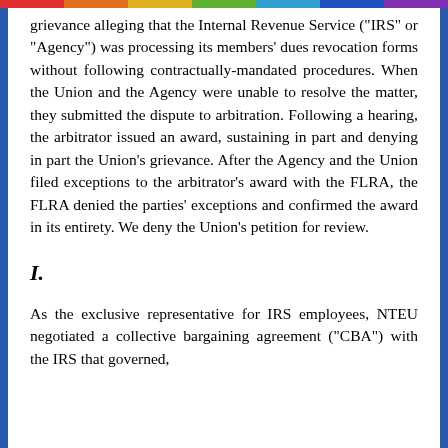grievance alleging that the Internal Revenue Service ("IRS" or "Agency") was processing its members' dues revocation forms without following contractually-mandated procedures. When the Union and the Agency were unable to resolve the matter, they submitted the dispute to arbitration. Following a hearing, the arbitrator issued an award, sustaining in part and denying in part the Union's grievance. After the Agency and the Union filed exceptions to the arbitrator's award with the FLRA, the FLRA denied the parties' exceptions and confirmed the award in its entirety. We deny the Union's petition for review.
I.
As the exclusive representative for IRS employees, NTEU negotiated a collective bargaining agreement ("CBA") with the IRS that governed,